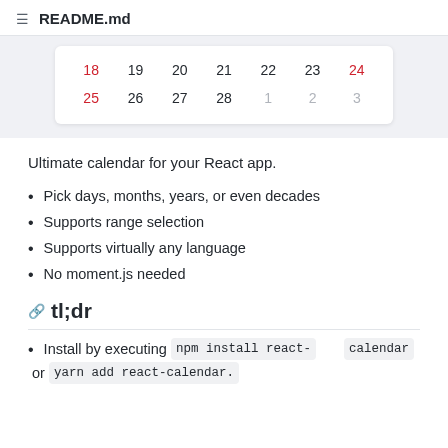README.md
[Figure (screenshot): Partial calendar widget showing two rows of dates: row 1: 18 (red), 19, 20, 21, 22, 23, 24 (red); row 2: 25 (red), 26, 27, 28, 1 (gray), 2 (gray), 3 (gray)]
Ultimate calendar for your React app.
Pick days, months, years, or even decades
Supports range selection
Supports virtually any language
No moment.js needed
tl;dr
Install by executing npm install react-calendar or yarn add react-calendar.